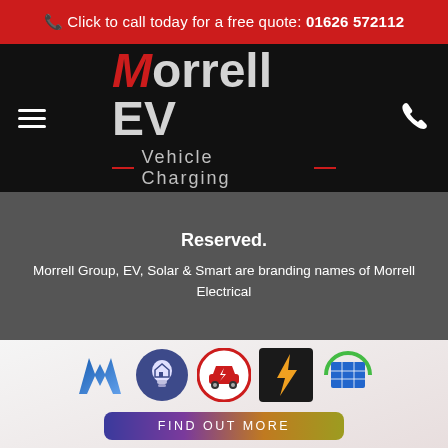Click to call today for a free quote: 01626 572112
Morrell EV Vehicle Charging
Reserved. Morrell Group, EV, Solar & Smart are branding names of Morrell Electrical
[Figure (logo): Row of five brand icons: Morrell M logo (blue/dark blue), smart home lightbulb icon, EV car charging icon, electric bolt icon (orange/black), solar panel icon (green/teal grid)]
FIND OUT MORE